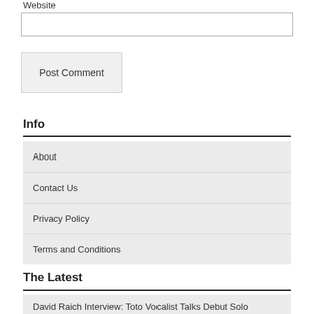Website
Post Comment
Info
About
Contact Us
Privacy Policy
Terms and Conditions
The Latest
David Raich Interview: Toto Vocalist Talks Debut Solo